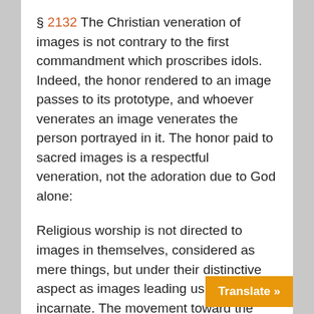§ 2132 The Christian veneration of images is not contrary to the first commandment which proscribes idols. Indeed, the honor rendered to an image passes to its prototype, and whoever venerates an image venerates the person portrayed in it. The honor paid to sacred images is a respectful veneration, not the adoration due to God alone:
Religious worship is not directed to images in themselves, considered as mere things, but under their distinctive aspect as images leading us on to God incarnate. The movement toward the image does not terminate in it as image, but tends that whose image it is.